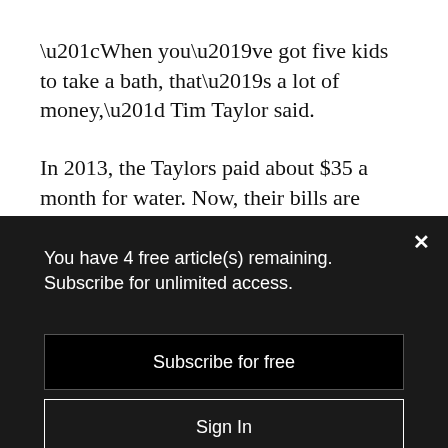“When you’ve got five kids to take a bath, that’s a lot of money,” Tim Taylor said.
In 2013, the Taylors paid about $35 a month for water. Now, their bills are closer to $90.
Like many Martin County Water District
You have 4 free article(s) remaining. Subscribe for unlimited access.
Subscribe for free
Sign In